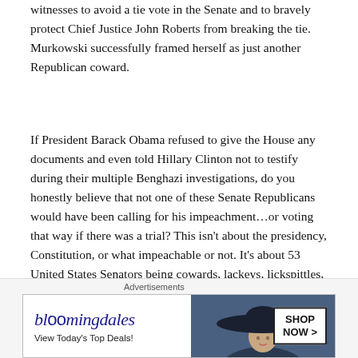witnesses to avoid a tie vote in the Senate and to bravely protect Chief Justice John Roberts from breaking the tie. Murkowski successfully framed herself as just another Republican coward.
If President Barack Obama refused to give the House any documents and even told Hillary Clinton not to testify during their multiple Benghazi investigations, do you honestly believe that not one of these Senate Republicans would have been calling for his impeachment…or voting that way if there was a trial? This isn't about the presidency, Constitution, or what impeachable or not. It's about 53 United States Senators being cowards, lackeys, lickspittles, and asskissers. It's about 53 United States
Advertisements
[Figure (other): Bloomingdale's advertisement banner: 'bloomingdales — View Today's Top Deals!' with a woman wearing a large dark hat, and a 'SHOP NOW >' button.]